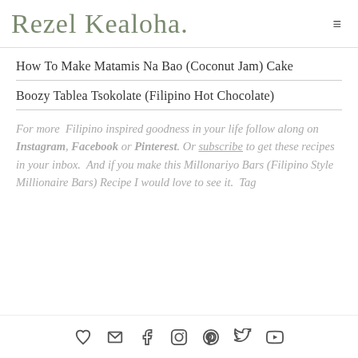Rezel Kealoha
How To Make Matamis Na Bao (Coconut Jam) Cake
Boozy Tablea Tsokolate (Filipino Hot Chocolate)
For more Filipino inspired goodness in your life follow along on Instagram, Facebook or Pinterest. Or subscribe to get these recipes in your inbox. And if you make this Millonariyo Bars (Filipino Style Millionaire Bars) Recipe I would love to see it. Tag
Social icons: heart, email, facebook, instagram, pinterest, twitter, youtube